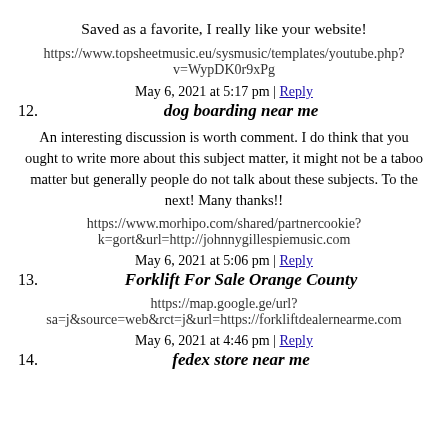Saved as a favorite, I really like your website!
https://www.topsheetmusic.eu/sysmusic/templates/youtube.php?v=WypDK0r9xPg
May 6, 2021 at 5:17 pm | Reply
12. dog boarding near me
An interesting discussion is worth comment. I do think that you ought to write more about this subject matter, it might not be a taboo matter but generally people do not talk about these subjects. To the next! Many thanks!!
https://www.morhipo.com/shared/partnercookie?k=gort&url=http://johnnygillespiemusic.com
May 6, 2021 at 5:06 pm | Reply
13. Forklift For Sale Orange County
https://map.google.ge/url?sa=j&source=web&rct=j&url=https://forkliftdealernearme.com
May 6, 2021 at 4:46 pm | Reply
14. fedex store near me